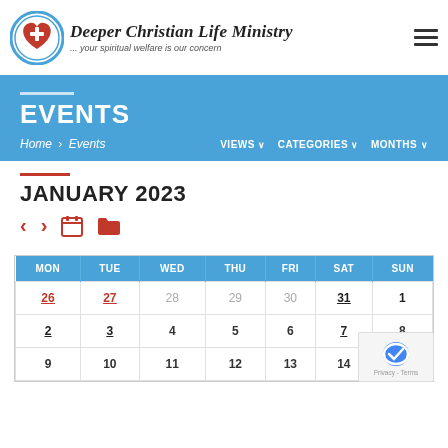Deeper Christian Life Ministry — your spiritual welfare is our concern
EVENTS
Home > Events | VIEWS | CATEGORIES | MONTHS
JANUARY 2023
| MON | TUE | WED | THU | FRI | SAT | SUN |
| --- | --- | --- | --- | --- | --- | --- |
| 26 | 27 | 28 | 29 | 30 | 31 | 1 |
| 2 | 3 | 4 | 5 | 6 | 7 | 8 |
| 9 | 10 | 11 | 12 | 13 | 14 | 15 |